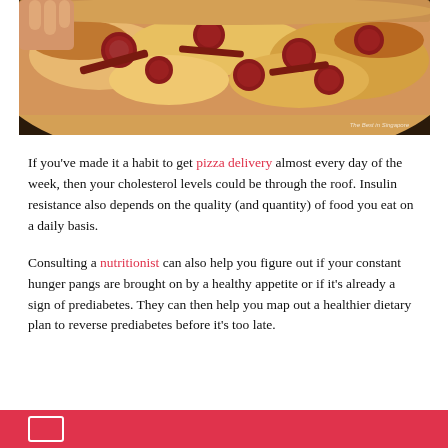[Figure (photo): Close-up photo of a pepperoni and cheese pizza being held, with a watermark reading 'The Best in Singapore' in the bottom right corner.]
If you've made it a habit to get pizza delivery almost every day of the week, then your cholesterol levels could be through the roof. Insulin resistance also depends on the quality (and quantity) of food you eat on a daily basis.
Consulting a nutritionist can also help you figure out if your constant hunger pangs are brought on by a healthy appetite or if it's already a sign of prediabetes. They can then help you map out a healthier dietary plan to reverse prediabetes before it's too late.
[Figure (other): Red banner at the bottom of the page with a white icon outline.]